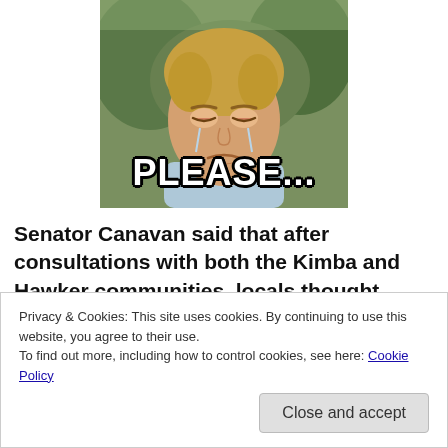[Figure (photo): A meme image of a man crying with the text 'PLEASE...' overlaid in large white Impact font with black outline, centered bottom of image. Blurred green outdoor background.]
Senator Canavan said that after consultations with both the Kimba and Hawker communities, locals thought more incentive would be needed to get long-
Privacy & Cookies: This site uses cookies. By continuing to use this website, you agree to their use.
To find out more, including how to control cookies, see here: Cookie Policy